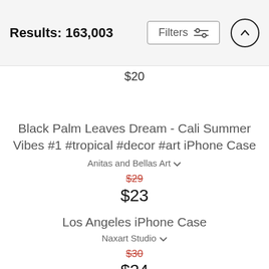Results: 163,003
$20
Black Palm Leaves Dream - Cali Summer Vibes #1 #tropical #decor #art iPhone Case
Anitas and Bellas Art
$29 $23
Los Angeles iPhone Case
Naxart Studio
$30 $24